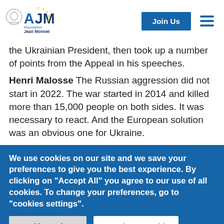Association Jean Monnet — Join Us navigation header
the Ukrainian President, then took up a number of points from the Appeal in his speeches.
Henri Malosse The Russian aggression did not start in 2022. The war started in 2014 and killed more than 15,000 people on both sides. It was necessary to react. And the European solution was an obvious one for Ukraine.
We use cookies on our site and we save your preferences to give you the best experience. By clicking on "Accept All" you agree to our use of all cookies. To change your preferences, go to "cookies settings".
Cookie Settings
Accepting everything